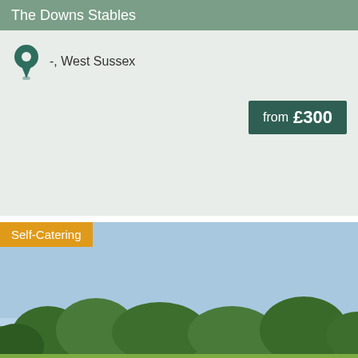The Downs Stables
-, West Sussex
from £300
[Figure (photo): Countryside landscape with green fields, grazing animals, trees and hills under a blue sky. Self-Catering badge overlay in orange top-left.]
Peacehaven Farm
Battle, East Sussex
from £10